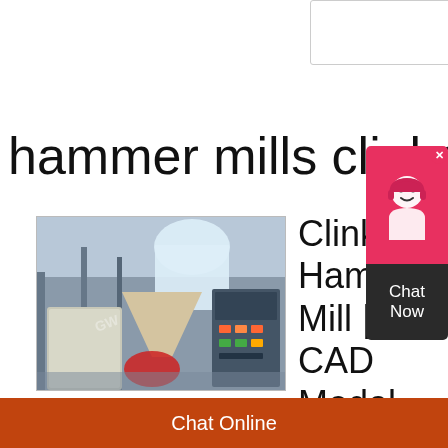[Figure (screenshot): Textarea input box at top of page]
Send Now
hammer mills clinker
[Figure (photo): Photo of a clinker hammer mill industrial machine in a factory setting]
Clinker Hammer Mill | 3D CAD Model Library | GrabCAD
[Figure (infographic): Chat Now widget with headset icon, red and dark background]
Chat Online